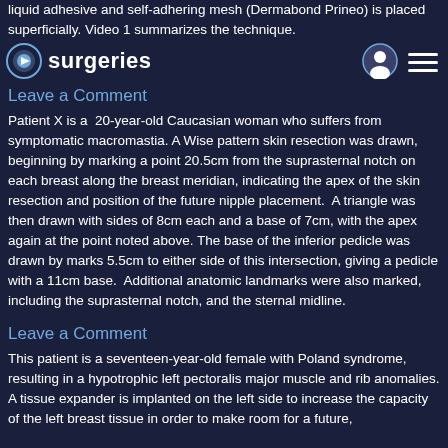liquid adhesive and self-adhering mesh (Dermabond Prineo) is placed superficially. Video 1 summarizes the technique.
surgeries
Leave a Comment
Patient X is a 20-year-old Caucasian woman who suffers from symptomatic macromastia. A Wise pattern skin resection was drawn, beginning by marking a point 20.5cm from the suprasternal notch on each breast along the breast meridian, indicating the apex of the skin resection and position of the future nipple placement. A triangle was then drawn with sides of 8cm each and a base of 7cm, with the apex again at the point noted above. The base of the inferior pedicle was drawn by marks 5.5cm to either side of this intersection, giving a pedicle with a 11cm base. Additional anatomic landmarks were also marked, including the suprasternal notch, and the sternal midline.
Leave a Comment
This patient is a seventeen-year-old female with Poland syndrome, resulting in a hypotrophic left pectoralis major muscle and rib anomalies. A tissue expander is implanted on the left side to increase the capacity of the left breast tissue in order to make room for a future,